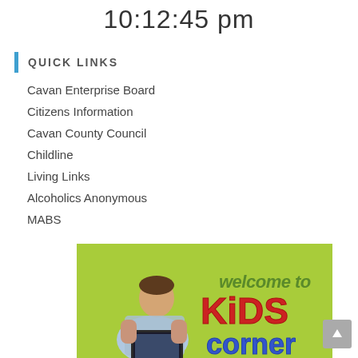10:12:45 pm
QUICK LINKS
Cavan Enterprise Board
Citizens Information
Cavan County Council
Childline
Living Links
Alcoholics Anonymous
MABS
[Figure (illustration): Kids Corner banner with a boy sitting with a laptop, green background, text reading 'welcome to KiDS corner']